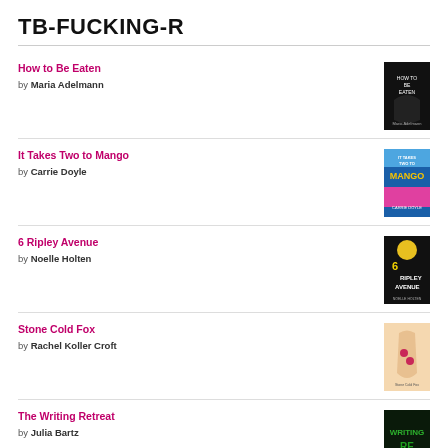TB-FUCKING-R
How to Be Eaten by Maria Adelmann
It Takes Two to Mango by Carrie Doyle
6 Ripley Avenue by Noelle Holten
Stone Cold Fox by Rachel Koller Croft
The Writing Retreat by Julia Bartz